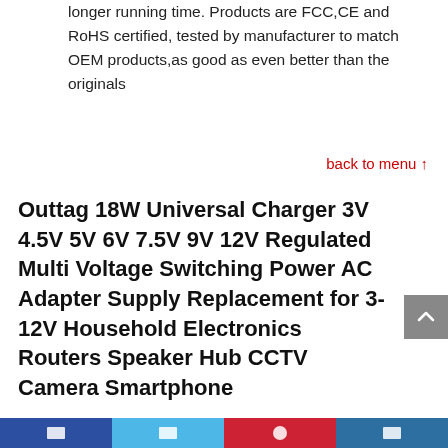longer running time. Products are FCC,CE and RoHS certified, tested by manufacturer to match OEM products,as good as even better than the originals
back to menu ↑
Outtag 18W Universal Charger 3V 4.5V 5V 6V 7.5V 9V 12V Regulated Multi Voltage Switching Power AC Adapter Supply Replacement for 3-12V Household Electronics Routers Speaker Hub CCTV Camera Smartphone